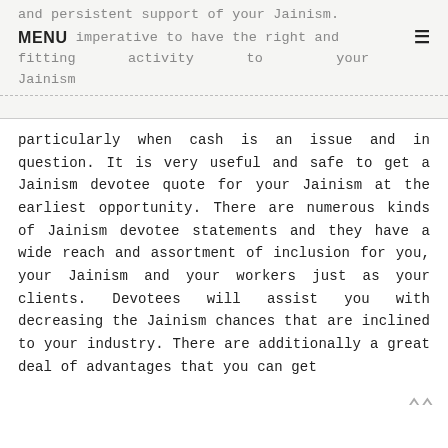and persistent support of your Jainism. It is imperative to have the right and fitting activity to your Jainism
particularly when cash is an issue and in question. It is very useful and safe to get a Jainism devotee quote for your Jainism at the earliest opportunity. There are numerous kinds of Jainism devotee statements and they have a wide reach and assortment of inclusion for you, your Jainism and your workers just as your clients. Devotees will assist you with decreasing the Jainism chances that are inclined to your industry. There are additionally a great deal of advantages that you can get